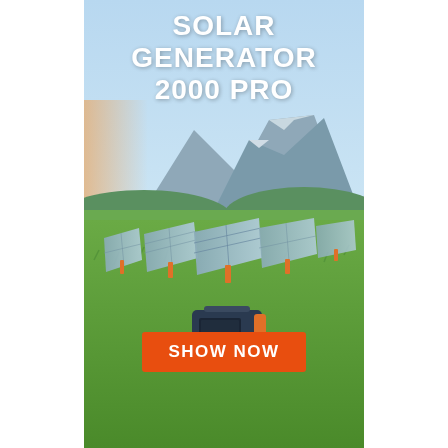SOLAR GENERATOR 2000 PRO
[Figure (photo): Outdoor scene with multiple solar panels set up in a green grassy field with mountains in the background under a blue sky. A portable power station (Jackery Solar Generator 2000 Pro) sits in the foreground on the grass.]
SHOW NOW